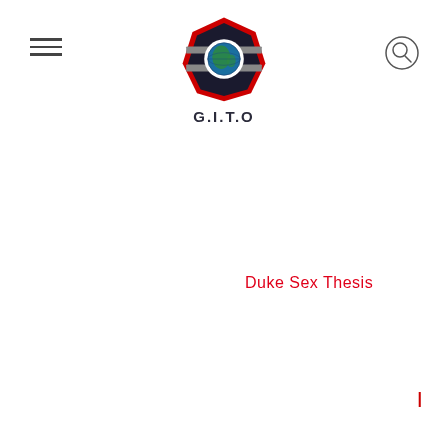[Figure (logo): G.I.T.O logo: red octagon/diamond shape with globe in center and horizontal stripes, text G.I.T.O below]
Duke Sex Thesis
|